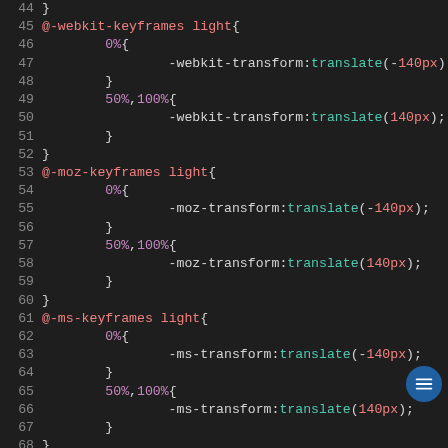[Figure (screenshot): Code editor screenshot showing CSS @keyframes animations for webkit, moz, and ms prefixes, lines 44-68, dark theme with syntax highlighting]